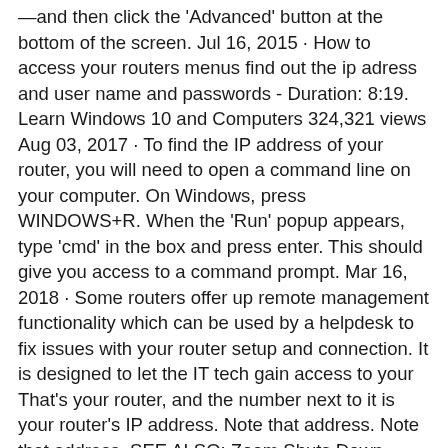—and then click the 'Advanced' button at the bottom of the screen. Jul 16, 2015 · How to access your routers menus find out the ip adress and user name and passwords - Duration: 8:19. Learn Windows 10 and Computers 324,321 views Aug 03, 2017 · To find the IP address of your router, you will need to open a command line on your computer. On Windows, press WINDOWS+R. When the 'Run' popup appears, type 'cmd' in the box and press enter. This should give you access to a command prompt. Mar 16, 2018 · Some routers offer up remote management functionality which can be used by a helpdesk to fix issues with your router setup and connection. It is designed to let the IT tech gain access to your That's your router, and the number next to it is your router's IP address. Note that address. Note that address. SEE ALSO: Zoom Shuts Down Chinese Activist Group's Account Over Tiananmen Square Event Jun 24, 2020 · To log in to your NETGEAR router with the Nighthawk app: To see if your router is supported, see Which products support the NETGEAR Nighthawk app?.